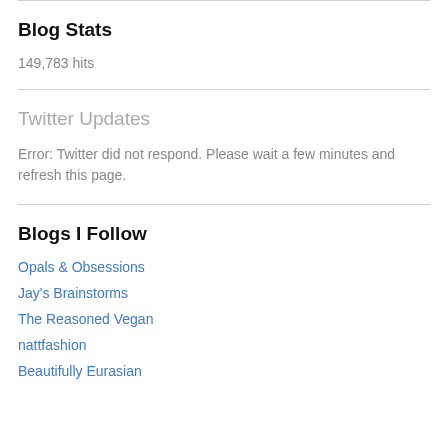Blog Stats
149,783 hits
Twitter Updates
Error: Twitter did not respond. Please wait a few minutes and refresh this page.
Blogs I Follow
Opals & Obsessions
Jay's Brainstorms
The Reasoned Vegan
nattfashion
Beautifully Eurasian